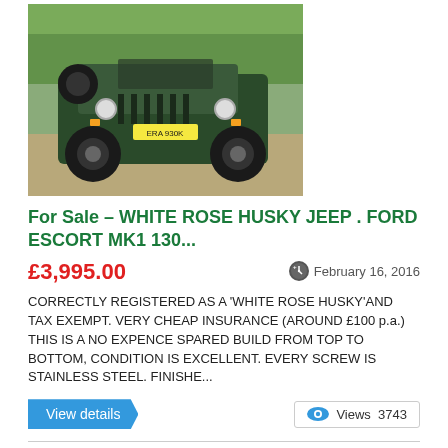[Figure (photo): Front view of a dark green White Rose Husky Jeep parked on gravel driveway with lawn in background. License plate reads ERA 930K.]
For Sale – WHITE ROSE HUSKY JEEP . FORD ESCORT MK1 130...
£3,995.00
February 16, 2016
CORRECTLY REGISTERED AS A 'WHITE ROSE HUSKY'AND TAX EXEMPT. VERY CHEAP INSURANCE (AROUND £100 p.a.) THIS IS A NO EXPENCE SPARED BUILD FROM TOP TO BOTTOM, CONDITION IS EXCELLENT. EVERY SCREW IS STAINLESS STEEL. FINISHE...
View details
Views  3743
[Figure (photo): Front view of a dark blue open-top kit car (Caterham/Lotus style) parked on gravel driveway.]